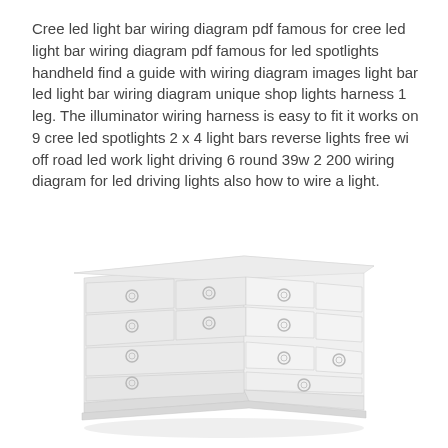Cree led light bar wiring diagram pdf famous for cree led light bar wiring diagram pdf famous for led spotlights handheld find a guide with wiring diagram images light bar led light bar wiring diagram unique shop lights harness 1 leg. The illuminator wiring harness is easy to fit it works on 9 cree led spotlights 2 x 4 light bars reverse lights free wi off road led work light driving 6 round 39w 2 200 wiring diagram for led driving lights also how to wire a light.
[Figure (illustration): Illustration of a white chest of drawers (dresser) with multiple drawers of varying sizes, shown in a light gray/white color scheme with circular drawer knobs.]